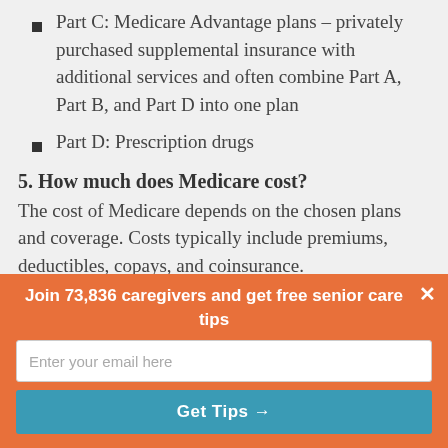Part C: Medicare Advantage plans – privately purchased supplemental insurance with additional services and often combine Part A, Part B, and Part D into one plan
Part D: Prescription drugs
5. How much does Medicare cost?
The cost of Medicare depends on the chosen plans and coverage. Costs typically include premiums, deductibles, copays, and coinsurance.
The premium for Part A is free for people or their
Join 73,836 caregivers and get free senior care tips
Enter your email here
Get Tips →